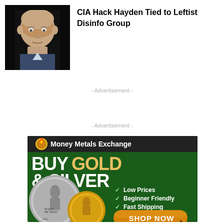[Figure (photo): Headshot of a bald older man in a dark suit, against a dark background]
CIA Hack Hayden Tied to Leftist Disinfo Group
- Advertisement -
- Advertisement -
[Figure (illustration): Money Metals Exchange advertisement banner. Green background with gold and silver coins. Text: BUY GOLD & SILVER. Checkmarks listing: Low Prices, Beginner Friendly, Fast Shipping, Secure Ordering. Orange SHOP NOW button with cursor arrow.]